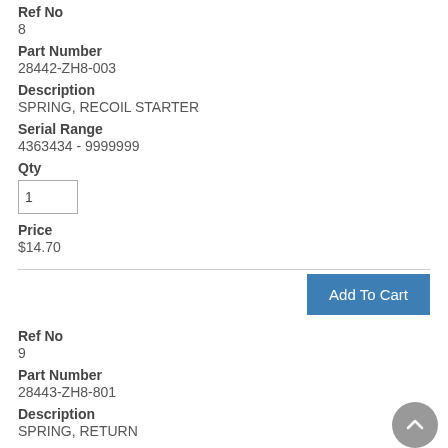Ref No
8
Part Number
28442-ZH8-003
Description
SPRING, RECOIL STARTER
Serial Range
4363434 - 9999999
Qty
1
Price
$14.70
Add To Cart
Ref No
9
Part Number
28443-ZH8-801
Description
SPRING, RETURN